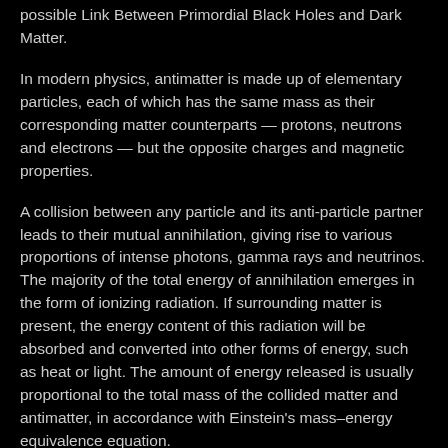possible Link Between Primordial Black Holes and Dark Matter.
In modern physics, antimatter is made up of elementary particles, each of which has the same mass as their corresponding matter counterparts — protons, neutrons and electrons — but the opposite charges and magnetic properties.
A collision between any particle and its anti-particle partner leads to their mutual annihilation, giving rise to various proportions of intense photons, gamma rays and neutrinos. The majority of the total energy of annihilation emerges in the form of ionizing radiation. If surrounding matter is present, the energy content of this radiation will be absorbed and converted into other forms of energy, such as heat or light. The amount of energy released is usually proportional to the total mass of the collided matter and antimatter, in accordance with Einstein's mass–energy equivalence equation.